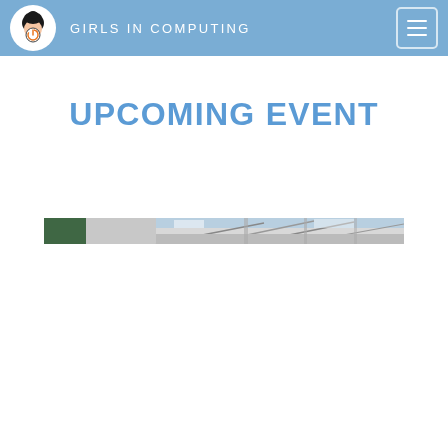GIRLS IN COMPUTING
UPCOMING EVENT
[Figure (photo): A wide panoramic banner image showing architectural elements — steel beams, glass structures, and building frameworks — at what appears to be a modern venue or event space.]